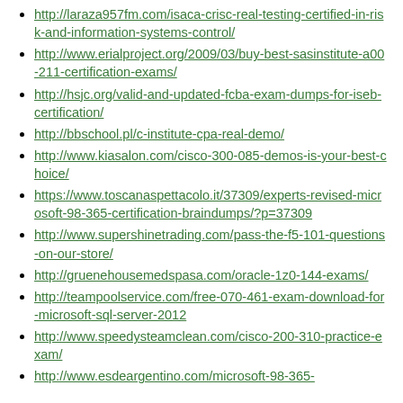http://laraza957fm.com/isaca-crisc-real-testing-certified-in-risk-and-information-systems-control/
http://www.erialproject.org/2009/03/buy-best-sasinstitute-a00-211-certification-exams/
http://hsjc.org/valid-and-updated-fcba-exam-dumps-for-iseb-certification/
http://bbschool.pl/c-institute-cpa-real-demo/
http://www.kiasalon.com/cisco-300-085-demos-is-your-best-choice/
https://www.toscanaspettacolo.it/37309/experts-revised-microsoft-98-365-certification-braindumps/?p=37309
http://www.supershinetrading.com/pass-the-f5-101-questions-on-our-store/
http://gruenehousemedspasa.com/oracle-1z0-144-exams/
http://teampoolservice.com/free-070-461-exam-download-for-microsoft-sql-server-2012
http://www.speedysteamclean.com/cisco-200-310-practice-exam/
http://www.esdeargentino.com/microsoft-98-365-